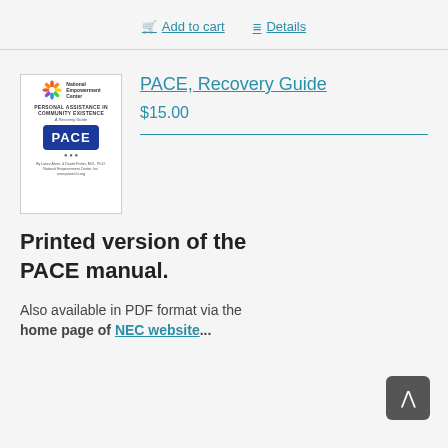Add to cart   Details
[Figure (illustration): Book cover for PACE Recovery Guide by National Empowerment Center, showing the PACE logo on a blue badge with coins.]
PACE, Recovery Guide
$15.00
Printed version of the PACE manual.
Also available in PDF format via the home page of NEC website.